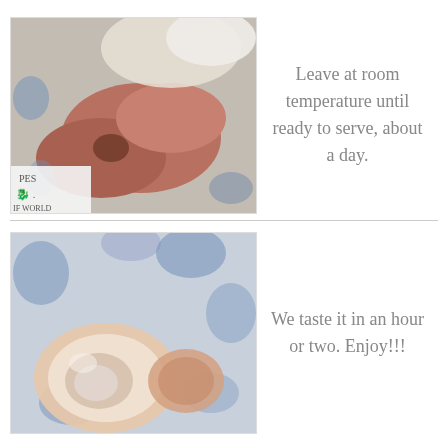[Figure (photo): Close-up photo of pieces of meat/food on a blue and white patterned plate, with a small watermark in the bottom-left corner reading 'PES ... IF WORLD']
Leave at room temperature until ready to serve, about a day.
[Figure (photo): Close-up photo of a round jelly/gelatin food item on a blue and white patterned plate]
We taste it in an hour or two. Enjoy!!!